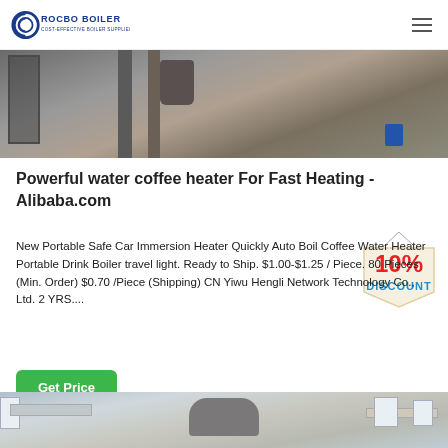ROCBO BOILER — COST-EFFECTIVE BOILER SUPPLIER
[Figure (photo): Industrial boiler or construction site interior with scaffolding, metal poles, and equipment.]
Powerful water coffee heater For Fast Heating - Alibaba.com
[Figure (infographic): 10% DISCOUNT badge/stamp overlay on page.]
New Portable Safe Car Immersion Heater Quickly Auto Boil Coffee Water Heater Portable Drink Boiler travel light. Ready to Ship. $1.00-$1.25 / Piece. 80 Pieces (Min. Order) $0.70 /Piece (Shipping) CN Yiwu Hengli Network Technology Co., Ltd. 2 YRS....
Get Price
[Figure (photo): Industrial boiler room interior with large cylindrical boiler machinery, pipes, and windows.]